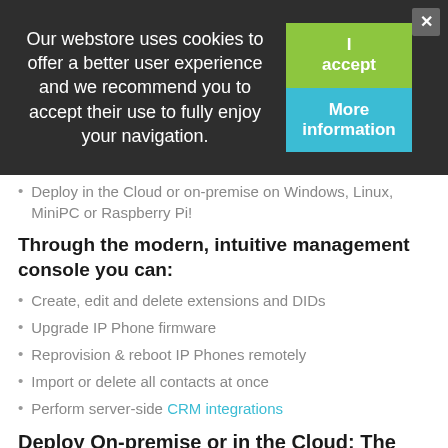Our webstore uses cookies to offer a better user experience and we recommend you to accept their use to fully enjoy your navigation.
Deploy in the Cloud or on-premise on Windows, Linux, MiniPC or Raspberry Pi!
Through the modern, intuitive management console you can:
Create, edit and delete extensions and DIDs
Upgrade IP Phone firmware
Reprovision & reboot IP Phones remotely
Import or delete all contacts at once
Perform server-side CRM integrations
Deploy On-premise or in the Cloud: The Choice is Yours
With 3CX, deployment of your PBX is